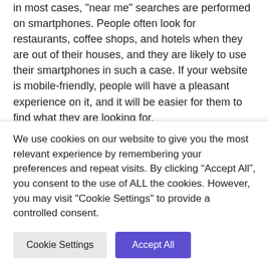in most cases, "near me" searches are performed on smartphones. People often look for restaurants, coffee shops, and hotels when they are out of their houses, and they are likely to use their smartphones in such a case. If your website is mobile-friendly, people will have a pleasant experience on it, and it will be easier for them to find what they are looking for.
Google also pushes the sites that offer a good user experience, and it should be your biggest motivation to make your site mobile-friendly. Such sites also do well in terms of overall SEO, which means you will get
We use cookies on our website to give you the most relevant experience by remembering your preferences and repeat visits. By clicking “Accept All”, you consent to the use of ALL the cookies. However, you may visit "Cookie Settings" to provide a controlled consent.